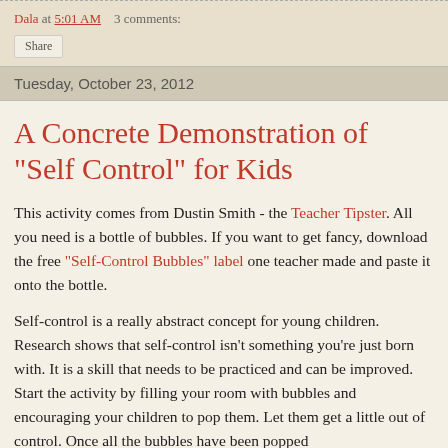Dala at 5:01 AM    3 comments:
Share
Tuesday, October 23, 2012
A Concrete Demonstration of "Self Control" for Kids
This activity comes from Dustin Smith - the Teacher Tipster. All you need is a bottle of bubbles. If you want to get fancy, download the free "Self-Control Bubbles" label one teacher made and paste it onto the bottle.
Self-control is a really abstract concept for young children. Research shows that self-control isn't something you're just born with. It is a skill that needs to be practiced and can be improved. Start the activity by filling your room with bubbles and encouraging your children to pop them. Let them get a little out of control. Once all the bubbles have been popped